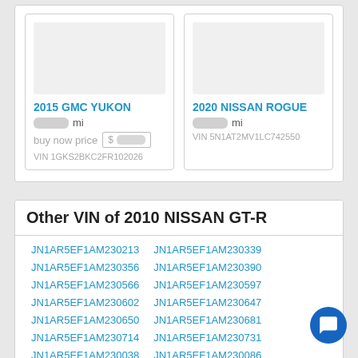[Figure (screenshot): Car listing card for 2015 GMC YUKON with blurred mileage, buy now price field with dollar sign, and VIN 1GKS2BKC2FR102026]
[Figure (screenshot): Car listing card for 2020 NISSAN ROGUE with blurred mileage and VIN 5N1AT2MV1LC742550]
Other VIN of 2010 NISSAN GT-R
JN1AR5EF1AM230213
JN1AR5EF1AM230339
JN1AR5EF1AM230356
JN1AR5EF1AM230390
JN1AR5EF1AM230566
JN1AR5EF1AM230597
JN1AR5EF1AM230602
JN1AR5EF1AM230647
JN1AR5EF1AM230650
JN1AR5EF1AM230681
JN1AR5EF1AM230714
JN1AR5EF1AM230731
JN1AR5EF1AM230038
JN1AR5EF1AM230086